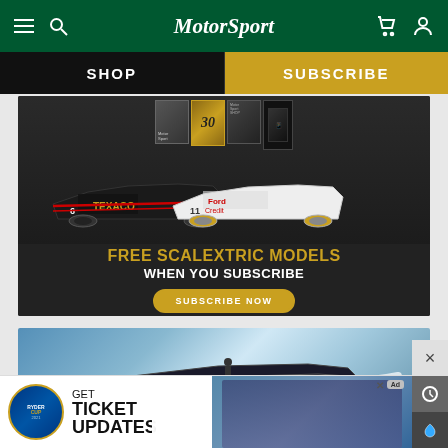MotorSport
SHOP
SUBSCRIBE
[Figure (photo): Promotional banner showing two racing car scale models (Texaco and Ford Credit liveries) with magazine covers in background. Text reads: FREE SCALEXTRIC MODELS WHEN YOU SUBSCRIBE, with a SUBSCRIBE NOW button.]
[Figure (photo): Speedboat racing across open ocean water, aerial or low angle view.]
[Figure (other): Ryder Cup advertisement banner at bottom: GET TICKET UPDATES with Ryder Cup logo and background photo of golfers.]